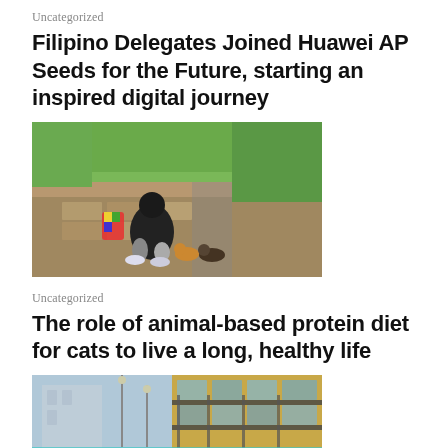Uncategorized
Filipino Delegates Joined Huawei AP Seeds for the Future, starting an inspired digital journey
[Figure (photo): Person crouching down to feed or pet cats on a brick/stone paved path in a park with green grass in the background. A colorful bag is visible on the left.]
Uncategorized
The role of animal-based protein diet for cats to live a long, healthy life
[Figure (photo): Looking up at a modern building facade with glass panels, metal railings, and signage. Blue sky and another building visible.]